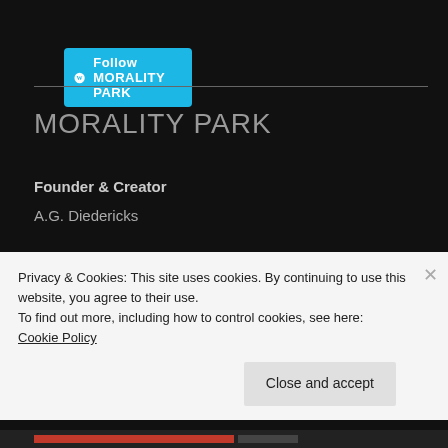[Figure (logo): WordPress Follow button with cyan background reading 'Follow MORALITY PARK']
MORALITY PARK
Founder & Creator
A.G. Diedericks
Morality Park Artists
A.G. Diedericks – MORALITY PARK
Privacy & Cookies: This site uses cookies. By continuing to use this website, you agree to their use.
To find out more, including how to control cookies, see here: Cookie Policy
Close and accept